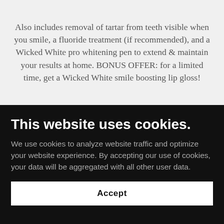Also includes removal of tartar from teeth visible when you smile, a fluoride treatment (if recommended), and a Wicked White pro whitening pen to extend & maintain your results at home. BONUS OFFER: for a limited time, get a Wicked White smile boosting lip gloss!
This website uses cookies.
We use cookies to analyze website traffic and optimize your website experience. By accepting our use of cookies, your data will be aggregated with all other user data.
Accept